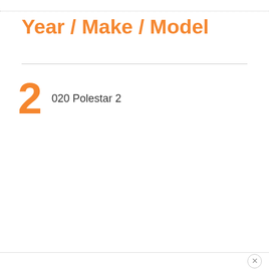Year / Make / Model
2  020 Polestar 2